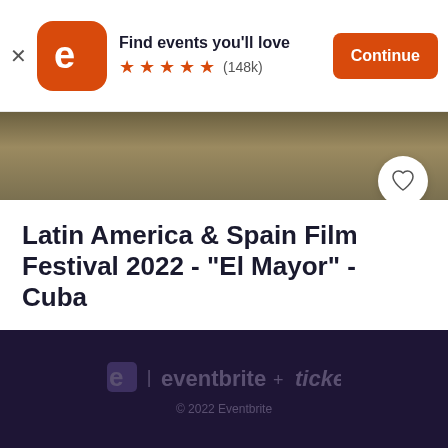[Figure (screenshot): Eventbrite app banner with logo, star ratings (148k), and Continue button]
[Figure (photo): Outdoor scene photo strip showing people and landscape]
Latin America & Spain Film Festival 2022 - "El Mayor" - Cuba
Thu, Nov 10, 6:45 PM
Toi Ohomai Institute of Technology, Windermere...
Free
eventbrite + ticketfly
© 2022 Eventbrite